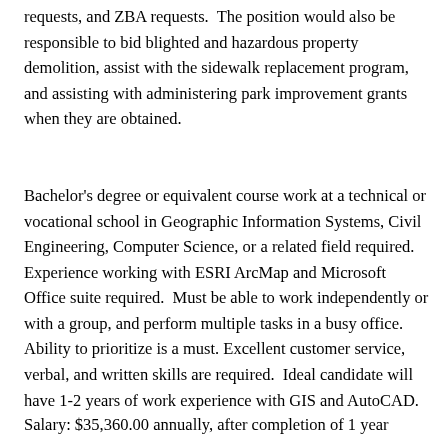requests, and ZBA requests.  The position would also be responsible to bid blighted and hazardous property demolition, assist with the sidewalk replacement program, and assisting with administering park improvement grants when they are obtained.
Bachelor's degree or equivalent course work at a technical or vocational school in Geographic Information Systems, Civil Engineering, Computer Science, or a related field required. Experience working with ESRI ArcMap and Microsoft Office suite required.  Must be able to work independently or with a group, and perform multiple tasks in a busy office.  Ability to prioritize is a must. Excellent customer service, verbal, and written skills are required.  Ideal candidate will have 1-2 years of work experience with GIS and AutoCAD.
Salary: $35,360.00 annually, after completion of 1 year